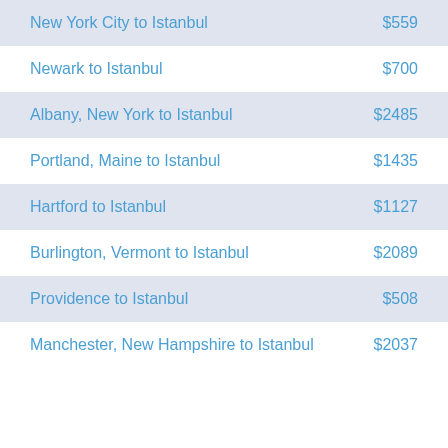| Route | Price |
| --- | --- |
| New York City to Istanbul | $559 |
| Newark to Istanbul | $700 |
| Albany, New York to Istanbul | $2485 |
| Portland, Maine to Istanbul | $1435 |
| Hartford to Istanbul | $1127 |
| Burlington, Vermont to Istanbul | $2089 |
| Providence to Istanbul | $508 |
| Manchester, New Hampshire to Istanbul | $2037 |